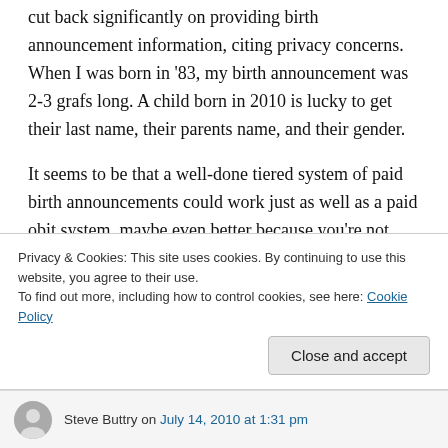cut back significantly on providing birth announcement information, citing privacy concerns. When I was born in '83, my birth announcement was 2-3 grafs long. A child born in 2010 is lucky to get their last name, their parents name, and their gender.
It seems to be that a well-done tiered system of paid birth announcements could work just as well as a paid obit system, maybe even better because you're not dealing with the sometimes sensitive issue of death.
Privacy & Cookies: This site uses cookies. By continuing to use this website, you agree to their use.
To find out more, including how to control cookies, see here: Cookie Policy
Close and accept
Steve Buttry on July 14, 2010 at 1:31 pm